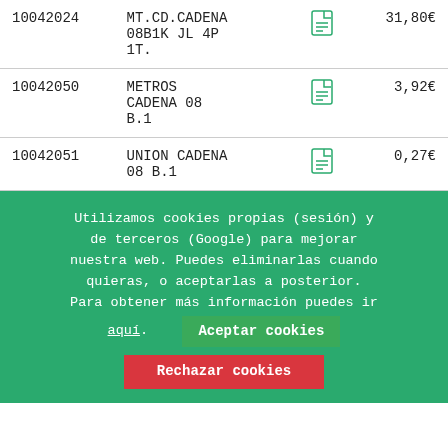| ID | Name | Icon | Price |
| --- | --- | --- | --- |
| 10042024 | MT.CD.CADENA 08B1K JL 4P 1T. |  | 31,80€ |
| 10042050 | METROS CADENA 08 B.1 |  | 3,92€ |
| 10042051 | UNION CADENA 08 B.1 |  | 0,27€ |
Utilizamos cookies propias (sesión) y de terceros (Google) para mejorar nuestra web. Puedes eliminarlas cuando quieras, o aceptarlas a posterior. Para obtener más información puedes ir aquí. Aceptar cookies Rechazar cookies